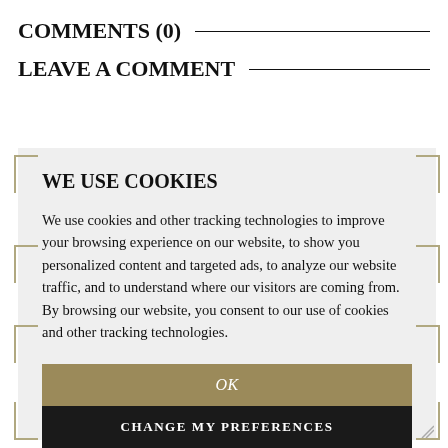COMMENTS (0)
LEAVE A COMMENT
WE USE COOKIES
We use cookies and other tracking technologies to improve your browsing experience on our website, to show you personalized content and targeted ads, to analyze our website traffic, and to understand where our visitors are coming from. By browsing our website, you consent to our use of cookies and other tracking technologies.
OK
CHANGE MY PREFERENCES